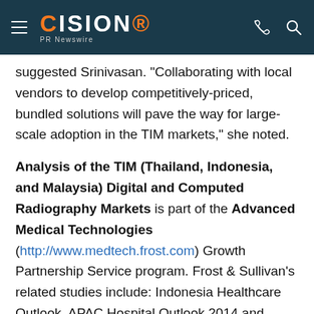CISION PR Newswire
suggested Srinivasan. "Collaborating with local vendors to develop competitively-priced, bundled solutions will pave the way for large-scale adoption in the TIM markets," she noted.
Analysis of the TIM (Thailand, Indonesia, and Malaysia) Digital and Computed Radiography Markets is part of the Advanced Medical Technologies (http://www.medtech.frost.com) Growth Partnership Service program. Frost & Sullivan's related studies include: Indonesia Healthcare Outlook, APAC Hospital Outlook 2014 and Singapore Diagnostic Imaging Services Market. All